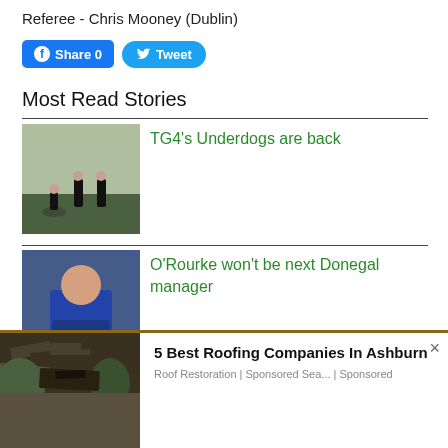Referee - Chris Mooney (Dublin)
[Figure (screenshot): Facebook Share button with count 0 and Twitter Tweet button]
Most Read Stories
[Figure (photo): Three men on a sports field, one in a wheelchair, holding musical instruments]
TG4's Underdogs are back
[Figure (photo): Man in blue jacket with arms crossed, blurred crowd background]
O'Rourke won't be next Donegal manager
[Figure (photo): Partial view of a photo at bottom of page]
5 Best Roofing Companies In Ashburn
Roof Restoration | Sponsored Sea... | Sponsored